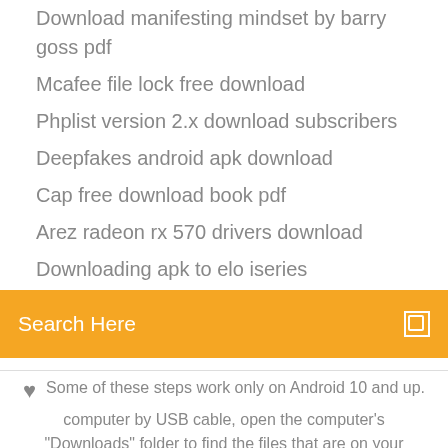Download manifesting mindset by barry goss pdf
Mcafee file lock free download
Phplist version 2.x download subscribers
Deepfakes android apk download
Cap free download book pdf
Arez radeon rx 570 drivers download
Downloading apk to elo iseries
[Figure (screenshot): Orange search bar with 'Search Here' text and a search icon on the right]
♥ Some of these steps work only on Android 10 and up.
computer by USB cable, open the computer's "Downloads" folder to find the files that are on your phone.
[Figure (infographic): Social media icons: facebook (f), twitter bird, settings/asterisk, Behance (Be)]
Use Android Data Manager to remove unwanted pre-